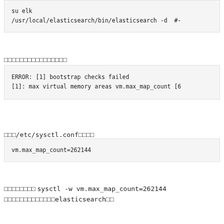su elk
/usr/local/elasticsearch/bin/elasticsearch -d  #-
□□□□□□□□□□□□□□□□
ERROR: [1] bootstrap checks failed
[1]: max virtual memory areas vm.max_map_count [6
□□□/etc/sysctl.conf□□□□
vm.max_map_count=262144
□□□□□□□□  sysctl -w vm.max_map_count=262144
□□□□□□□□□□□□□elasticsearch□□